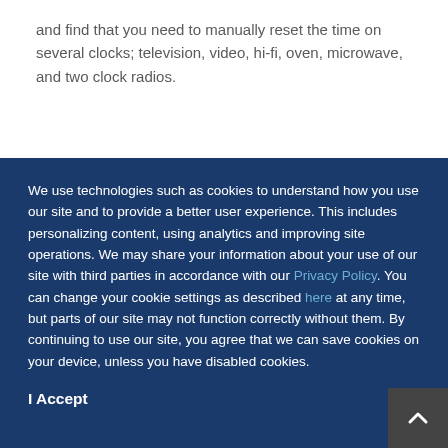and find that you need to manually reset the time on several clocks; television, video, hi-fi, oven, microwave, and two clock radios.
We use technologies such as cookies to understand how you use our site and to provide a better user experience. This includes personalizing content, using analytics and improving site operations. We may share your information about your use of our site with third parties in accordance with our Privacy Policy. You can change your cookie settings as described here at any time, but parts of our site may not function correctly without them. By continuing to use our site, you agree that we can save cookies on your device, unless you have disabled cookies.
I Accept